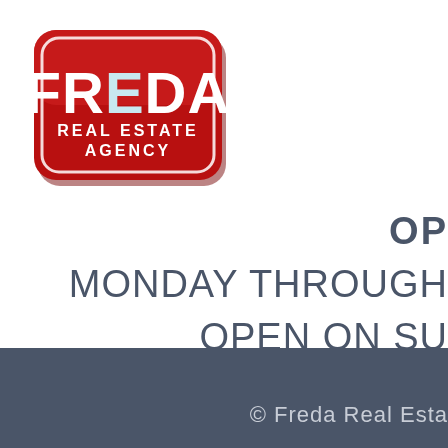[Figure (logo): Freda Real Estate Agency logo — red rounded rectangle badge with white text reading FREDA in large letters and REAL ESTATE AGENCY below]
OP
MONDAY THROUGH
OPEN ON SU
© Freda Real Esta